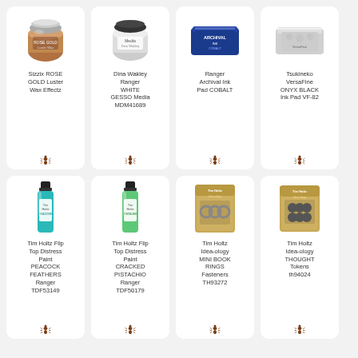[Figure (photo): Sizzix ROSE GOLD Luster Wax Effectz product - metallic rose gold jar]
Sizzix ROSE GOLD Luster Wax Effectz
[Figure (photo): Dina Wakley Ranger WHITE GESSO Media MDM41689 - white jar]
Dina Wakley Ranger WHITE GESSO Media MDM41689
[Figure (photo): Ranger Archival Ink Pad COBALT - blue ink pad]
Ranger Archival Ink Pad COBALT
[Figure (photo): Tsukineko VersaFine ONYX BLACK Ink Pad VF-82 - black ink pad]
Tsukineko VersaFine ONYX BLACK Ink Pad VF-82
[Figure (photo): Tim Holtz Flip Top Distress Paint PEACOCK FEATHERS Ranger TDF53149 - teal bottle]
Tim Holtz Flip Top Distress Paint PEACOCK FEATHERS Ranger TDF53149
[Figure (photo): Tim Holtz Flip Top Distress Paint CRACKED PISTACHIO Ranger TDF50179 - green bottle]
Tim Holtz Flip Top Distress Paint CRACKED PISTACHIO Ranger TDF50179
[Figure (photo): Tim Holtz Idea-ology MINI BOOK RINGS Fasteners TH93272 - kraft package]
Tim Holtz Idea-ology MINI BOOK RINGS Fasteners TH93272
[Figure (photo): Tim Holtz Idea-ology THOUGHT Tokens th94024 - kraft package]
Tim Holtz Idea-ology THOUGHT Tokens th94024